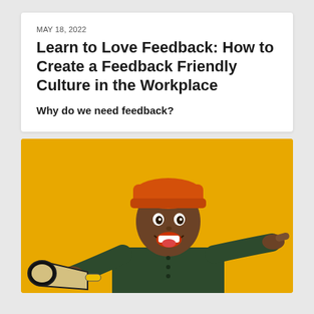MAY 18, 2022
Learn to Love Feedback: How to Create a Feedback Friendly Culture in the Workplace
Why do we need feedback?
[Figure (photo): A young man wearing an orange beanie hat and dark green long-sleeve shirt, holding a megaphone/bullhorn and pointing at the camera with an excited expression, against a bright yellow/amber background.]